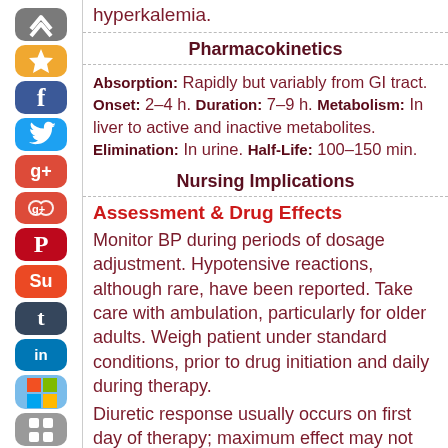hyperkalemia.
Pharmacokinetics
Absorption: Rapidly but variably from GI tract. Onset: 2–4 h. Duration: 7–9 h. Metabolism: In liver to active and inactive metabolites. Elimination: In urine. Half-Life: 100–150 min.
Nursing Implications
Assessment & Drug Effects
Monitor BP during periods of dosage adjustment. Hypotensive reactions, although rare, have been reported. Take care with ambulation, particularly for older adults. Weigh patient under standard conditions, prior to drug initiation and daily during therapy.
Diuretic response usually occurs on first day of therapy; maximum effect may not occur for several days.
Monitor and report oliguria and unusual changes in I&O ratio. Consult physician